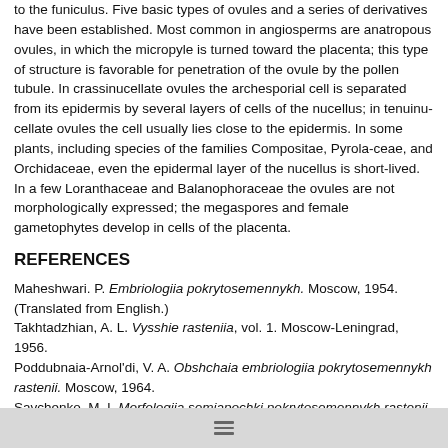to the funiculus. Five basic types of ovules and a series of derivatives have been established. Most common in angiosperms are anatropous ovules, in which the micropyle is turned toward the placenta; this type of structure is favorable for penetration of the ovule by the pollen tubule. In crassinucellate ovules the archesporial cell is separated from its epidermis by several layers of cells of the nucellus; in tenuinu-cellate ovules the cell usually lies close to the epidermis. In some plants, including species of the families Compositae, Pyrola-ceae, and Orchidaceae, even the epidermal layer of the nucellus is short-lived. In a few Loranthaceae and Balanophoraceae the ovules are not morphologically expressed; the megaspores and female gametophytes develop in cells of the placenta.
REFERENCES
Maheshwari. P. Embriologiia pokrytosemennykh. Moscow, 1954. (Translated from English.) Takhtadzhian, A. L. Vysshie rasteniia, vol. 1. Moscow-Leningrad, 1956. Poddubnaia-Arnol'di, V. A. Obshchaia embriologiia pokrytosemennykh rastenii. Moscow, 1964. Savchenko, M. I. Morfologiia semiapochki pokrytosemennykh rastenii. Leningrad, 1973.